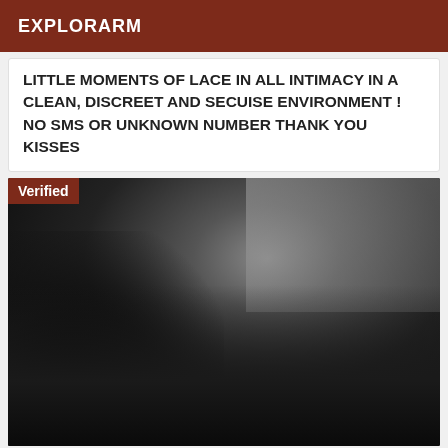EXPLORARM
LITTLE MOMENTS OF LACE IN ALL INTIMACY IN A CLEAN, DISCREET AND SECUISE ENVIRONMENT ! NO SMS OR UNKNOWN NUMBER THANK YOU KISSES
[Figure (photo): Dark silhouette photo of a person in black clothing and high heels lying on a bed with a gray curtain in the background. A 'Verified' badge appears in the top-left corner of the image.]